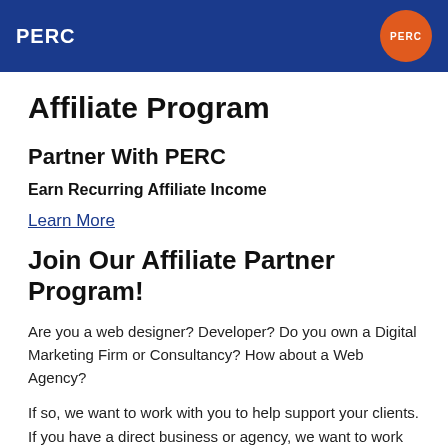PERC
Affiliate Program
Partner With PERC
Earn Recurring Affiliate Income
Learn More
Join Our Affiliate Partner Program!
Are you a web designer? Developer? Do you own a Digital Marketing Firm or Consultancy? How about a Web Agency?
If so, we want to work with you to help support your clients. If you have a direct business or agency, we want to work with you.